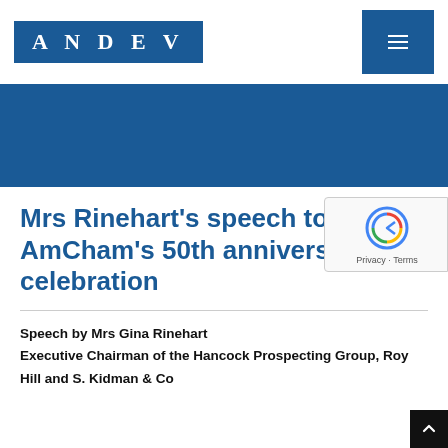ANDEV
[Figure (other): Dark blue banner/hero image area]
Mrs Rinehart’s speech to AmCham’s 50th anniversary celebration
Speech by Mrs Gina Rinehart
Executive Chairman of the Hancock Prospecting Group, Roy Hill and S. Kidman & Co